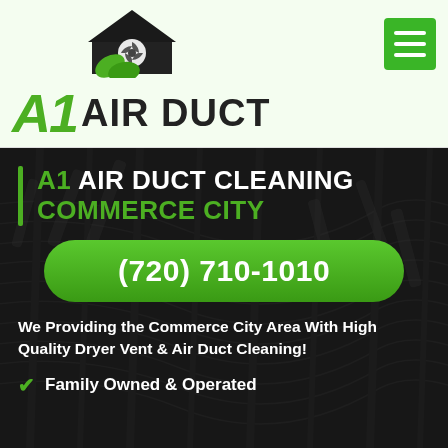[Figure (logo): A1 Air Duct company logo with green house icon featuring a fan, green leaves, and stylized 'A1 AIR DUCT' text]
A1 AIR DUCT CLEANING COMMERCE CITY
(720) 710-1010
We Providing the Commerce City Area With High Quality Dryer Vent & Air Duct Cleaning!
Family Owned & Operated